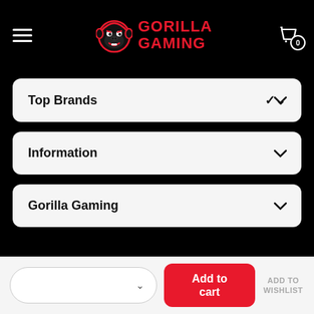Gorilla Gaming
Top Brands
Information
Gorilla Gaming
© 2022 Gorilla Gaming NZ. All Rights Reserved
Add to cart
ADD TO WISHLIST